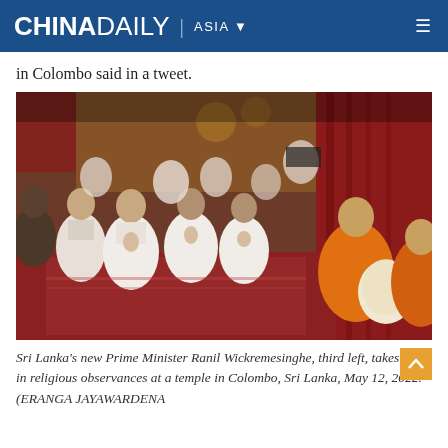CHINA DAILY | ASIA
in Colombo said in a tweet.
[Figure (photo): Sri Lanka's new Prime Minister Ranil Wickremesinghe, third left, and others in white clothing kneel and pray with hands together before Buddhist monks in orange robes seated at right, inside a decorated temple with red curtains and carpet, while media cameras record in the background.]
Sri Lanka's new Prime Minister Ranil Wickremesinghe, third left, takes part in religious observances at a temple in Colombo, Sri Lanka, May 12, 2022. (ERANGA JAYAWARDENA